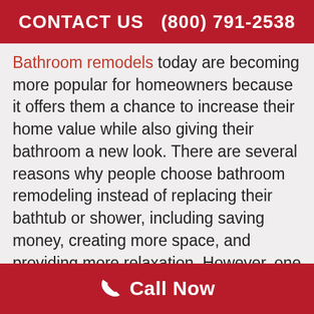CONTACT US   (800) 791-2538
Bathroom remodels today are becoming more popular for homeowners because it offers them a chance to increase their home value while also giving their bathroom a new look. There are several reasons why people choose bathroom remodeling instead of replacing their bathtub or shower, including saving money, creating more space, and providing more relaxation. However, one reason why homeowners should remodel their bathtub or shower is that it is a focal point of the room. The bathtub or shower is where you get ready for bathing or any other activity that you want to do in the bathroom. Therefore, it is important to think carefully about why is important to
Call Now